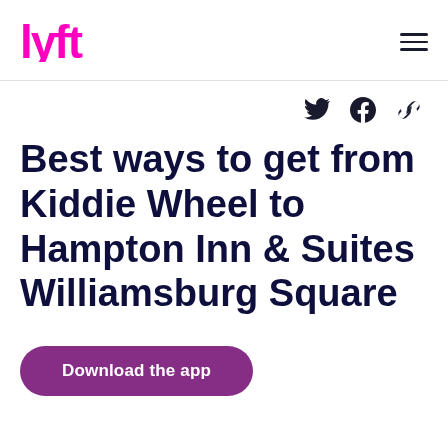Lyft (logo) | hamburger menu
[Figure (logo): Lyft logo in magenta/pink color on the top left, and a hamburger menu icon on the top right]
Best ways to get from Kiddie Wheel to Hampton Inn & Suites Williamsburg Square
Download the app